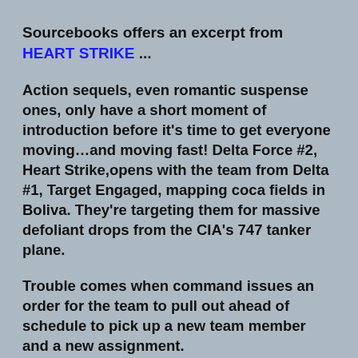Sourcebooks offers an excerpt from HEART STRIKE ...
Action sequels, even romantic suspense ones, only have a short moment of introduction before it’s time to get everyone moving…and moving fast! Delta Force #2, Heart Strike,opens with the team from Delta #1, Target Engaged, mapping coca fields in Boliva. They’re targeting them for massive defoliant drops from the CIA’s 747 tanker plane.
Trouble comes when command issues an order for the team to pull out ahead of schedule to pick up a new team member and a new assignment.